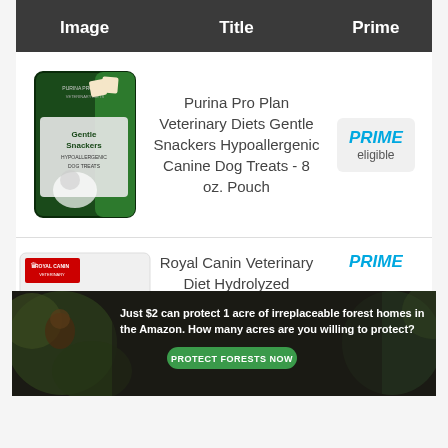| Image | Title | Prime |
| --- | --- | --- |
| [product image] | Purina Pro Plan Veterinary Diets Gentle Snackers Hypoallergenic Canine Dog Treats - 8 oz. Pouch | PRIME eligible |
| [product image] | Royal Canin Veterinary Diet Hydrolyzed | PRIME |
[Figure (photo): Ad banner: Amazon Conservation Association forest protection ad. Text: 'Just $2 can protect 1 acre of irreplaceable forest homes in the Amazon. How many acres are you willing to protect?' with green 'PROTECT FORESTS NOW' button.]